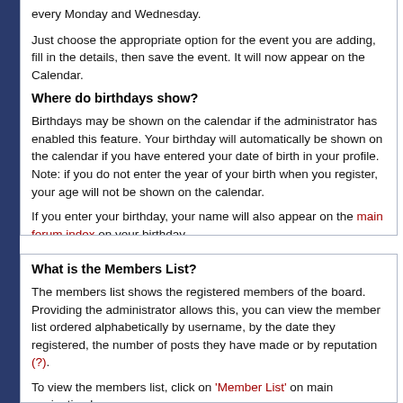every Monday and Wednesday.
Just choose the appropriate option for the event you are adding, fill in the details, then save the event. It will now appear on the Calendar.
Where do birthdays show?
Birthdays may be shown on the calendar if the administrator has enabled this feature. Your birthday will automatically be shown on the calendar if you have entered your date of birth in your profile. Note: if you do not enter the year of your birth when you register, your age will not be shown on the calendar.
If you enter your birthday, your name will also appear on the main forum index on your birthday.
What is the Members List?
The members list shows the registered members of the board. Providing the administrator allows this, you can view the member list ordered alphabetically by username, by the date they registered, the number of posts they have made or by reputation (?).
To view the members list, click on 'Member List' on main navigation bar.
To quickly find a particular member, click on the 'Search Members' link and type a name (or partial username) into the box. For further search options - including searching by email address, post count or home page - click on 'Advanced Search' on the search members page.